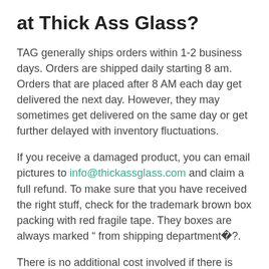at Thick Ass Glass?
TAG generally ships orders within 1-2 business days. Orders are shipped daily starting 8 am. Orders that are placed after 8 AM each day get delivered the next day. However, they may sometimes get delivered on the same day or get further delayed with inventory fluctuations.
If you receive a damaged product, you can email pictures to info@thickassglass.com and claim a full refund. To make sure that you have received the right stuff, check for the trademark brown box packing with red fragile tape. They boxes are always marked “ from shipping department�?.
There is no additional cost involved if there is any issue with the order. The guys at TAG take full responsibility